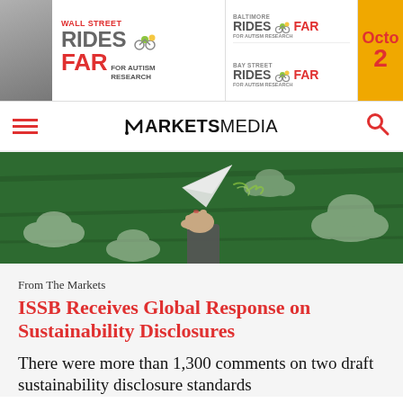[Figure (screenshot): Banner advertisement for 'Wall Street Rides FAR for Autism Research' and 'Baltimore Rides FAR / Bay Street Rides FAR' charity bike ride event with orange date indicator showing 'Octo 2']
MARKETS MEDIA
[Figure (photo): A hand in a business suit sleeve holding a paper airplane against a green chalkboard background with chalk-drawn clouds]
From The Markets
ISSB Receives Global Response on Sustainability Disclosures
There were more than 1,300 comments on two draft sustainability disclosure standards